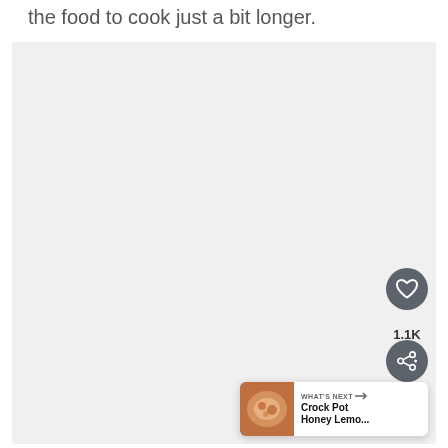the food to cook just a bit longer.
[Figure (photo): Large light gray placeholder image block occupying most of the page]
1.1K
WHAT'S NEXT → Crock Pot Honey Lemo...